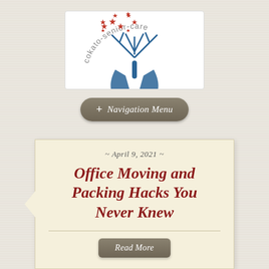[Figure (logo): Cokato Senior Care logo: two blue hands forming a tree shape with red stars as leaves, text 'cokato-senior-care' arching around the top in gray]
+ Navigation Menu
~ April 9, 2021 ~
Office Moving and Packing Hacks You Never Knew
Read More